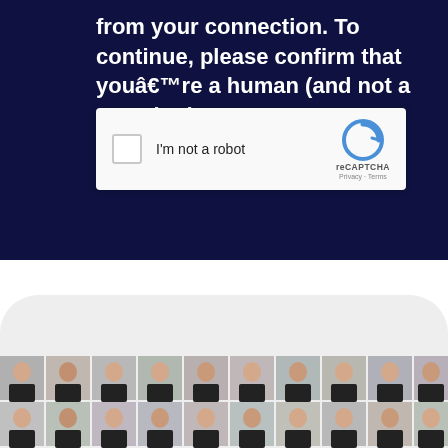from your connection. To continue, please confirm that youâ€™re a human (and not a spambot).
[Figure (screenshot): reCAPTCHA widget with checkbox labeled 'I'm not a robot' and the reCAPTCHA logo with Privacy and Terms links]
[Figure (photo): Grid of team member portrait photos showing people wearing black t-shirts against light backgrounds, arranged in rows]